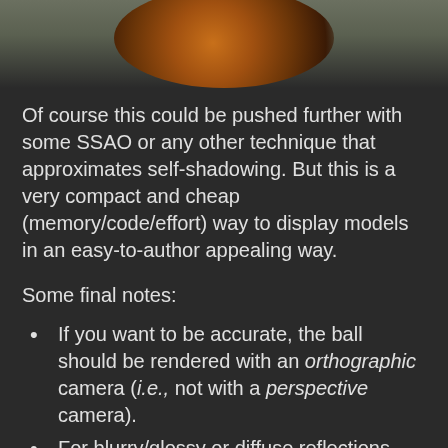[Figure (photo): Partial view of a rendered 3D sphere/ball with brownish-orange color against a muted olive-gray background, cropped at the top of the page.]
Of course this could be pushed further with some SSAO or any other technique that approximates self-shadowing. But this is a very compact and cheap (memory/code/effort) way to display models in an easy-to-author appealing way.
Some final notes:
If you want to be accurate, the ball should be rendered with an orthographic camera (i.e., not with a perspective camera).
For blurry/glossy or diffuse reflections, you can get away with a low-res ball render. However, make sure that the UVs that you generate